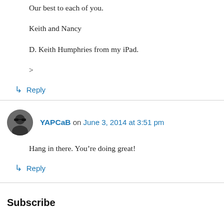Our best to each of you.

Keith and Nancy

D. Keith Humphries from my iPad.

>
↳ Reply
YAPCaB on June 3, 2014 at 3:51 pm
Hang in there. You're doing great!
↳ Reply
Subscribe